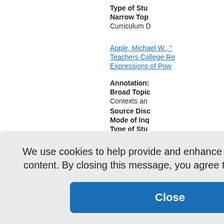Type of Stu...
Narrow Top...
Curriculum D...
Apple, Michael W., "...
Teachers College Re...
Expressions of Pow...
Annotation:
Broad Topic...
Contexts an...
Source Disc...
Mode of Inq...
Type of Stu...
Narrow Top...
ideologies in...
Michael W., "...
Educationa...
We use cookies to help provide and enhance our service and tailor content. By closing this message, you agree to the use of cookies.
Close